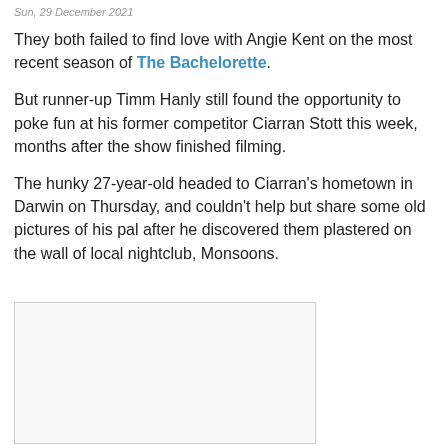Sun, 29 December 2021
They both failed to find love with Angie Kent on the most recent season of The Bachelorette.
But runner-up Timm Hanly still found the opportunity to poke fun at his former competitor Ciarran Stott this week, months after the show finished filming.
The hunky 27-year-old headed to Ciarran's hometown in Darwin on Thursday, and couldn't help but share some old pictures of his pal after he discovered them plastered on the wall of local nightclub, Monsoons.
[Figure (photo): Photograph placeholder — image not visible in source]